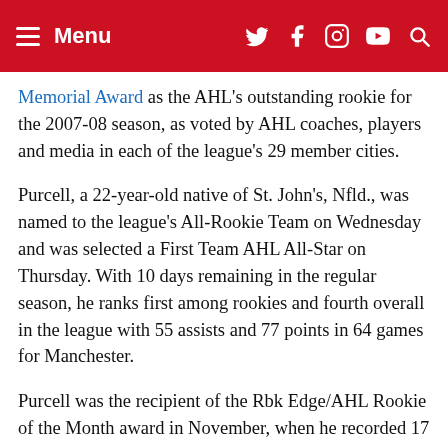Menu
Memorial Award as the AHL's outstanding rookie for the 2007-08 season, as voted by AHL coaches, players and media in each of the league's 29 member cities.
Purcell, a 22-year-old native of St. John's, Nfld., was named to the league's All-Rookie Team on Wednesday and was selected a First Team AHL All-Star on Thursday. With 10 days remaining in the regular season, he ranks first among rookies and fourth overall in the league with 55 assists and 77 points in 64 games for Manchester.
Purcell was the recipient of the Rbk Edge/AHL Rookie of the Month award in November, when he recorded 17 points in 12 games. He was then voted the starting lineup for the 2008 AHL All-Star Game presented by Reebok, and went on to win game MVP